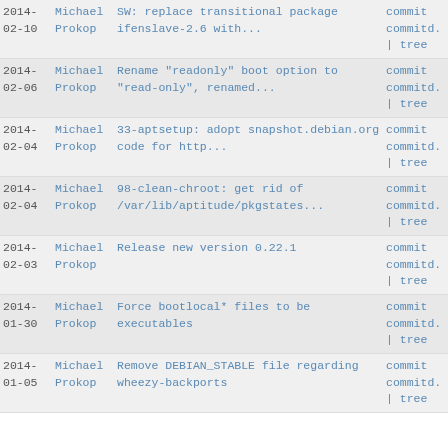| Date | Author | Message | Links |
| --- | --- | --- | --- |
| 2014-
02-10 | Michael
Prokop | SW: replace transitional package
ifenslave-2.6 with... | commit
commitd.
| tree |
| 2014-
02-06 | Michael
Prokop | Rename "readonly" boot option to
"read-only", renamed... | commit
commitd.
| tree |
| 2014-
02-04 | Michael
Prokop | 33-aptsetup: adopt snapshot.debian.org
code for http... | commit
commitd.
| tree |
| 2014-
02-04 | Michael
Prokop | 98-clean-chroot: get rid of
/var/lib/aptitude/pkgstates... | commit
commitd.
| tree |
| 2014-
02-03 | Michael
Prokop | Release new version 0.22.1 | commit
commitd.
| tree |
| 2014-
01-30 | Michael
Prokop | Force bootlocal* files to be
executables | commit
commitd.
| tree |
| 2014-
01-05 | Michael
Prokop | Remove DEBIAN_STABLE file regarding
wheezy-backports | commit
commitd.
| tree |